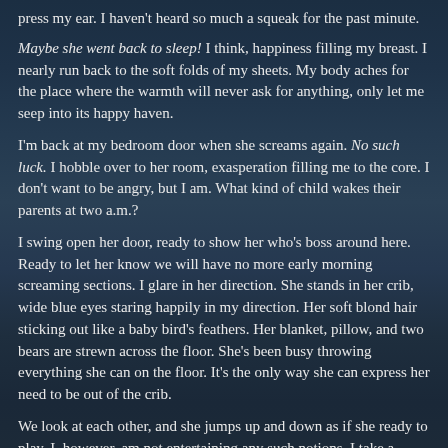press my ear. I haven't heard so much a squeak for the past minute.
Maybe she went back to sleep! I think, happiness filling my breast. I nearly run back to the soft folds of my sheets. My body aches for the place where the warmth will never ask for anything, only let me seep into its happy haven.
I'm back at my bedroom door when she screams again. No such luck. I hobble over to her room, exasperation filling me to the core. I don't want to be angry, but I am. What kind of child wakes their parents at two a.m.?
I swing open her door, ready to show her who's boss around here. Ready to let her know we will have no more early morning screaming sections. I glare in her direction. She stands in her crib, wide blue eyes staring happily in my direction. Her soft blond hair sticking out like a baby bird's feathers. Her blanket, pillow, and two bears are strewn across the floor. She's been busy throwing everything she can on the floor. It's the only way she can express her need to be out of the crib.
We look at each other, and she jumps up and down as if she ready to play. I, however, am not entertaining any such notions. I take a